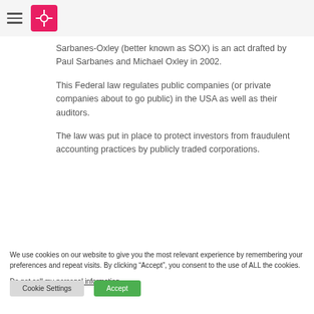[Navigation menu with hamburger icon and logo]
Sarbanes-Oxley (better known as SOX) is an act drafted by Paul Sarbanes and Michael Oxley in 2002.
This Federal law regulates public companies (or private companies about to go public) in the USA as well as their auditors.
The law was put in place to protect investors from fraudulent accounting practices by publicly traded corporations.
We use cookies on our website to give you the most relevant experience by remembering your preferences and repeat visits. By clicking “Accept”, you consent to the use of ALL the cookies.
Do not sell my personal information.